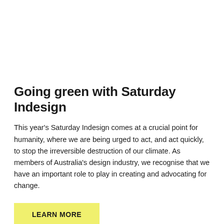Going green with Saturday Indesign
This year's Saturday Indesign comes at a crucial point for humanity, where we are being urged to act, and act quickly, to stop the irreversible destruction of our climate. As members of Australia's design industry, we recognise that we have an important role to play in creating and advocating for change.
LEARN MORE